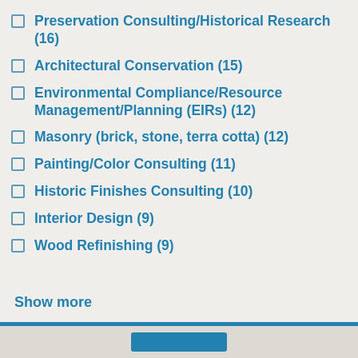Preservation Consulting/Historical Research (16)
Architectural Conservation (15)
Environmental Compliance/Resource Management/Planning (EIRs) (12)
Masonry (brick, stone, terra cotta) (12)
Painting/Color Consulting (11)
Historic Finishes Consulting (10)
Interior Design (9)
Wood Refinishing (9)
Show more